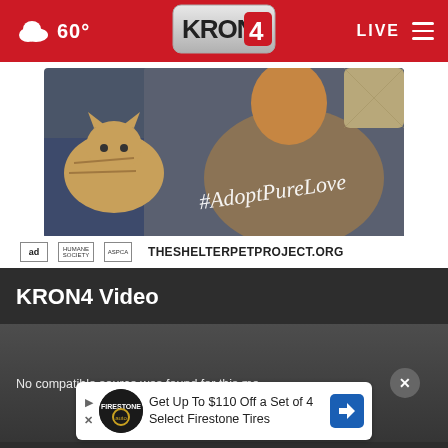60° KRON4 LIVE
[Figure (photo): Advertisement photo showing man playing guitar with cat on sofa, text '#AdoptPureLove' overlaid, with logos for ad council, humane society, and THESHELTERPETPROJECT.ORG]
KRON4 Video
No compatible source was found for this me...
[Figure (infographic): Banner advertisement: Get Up To $110 Off a Set of 4 Select Firestone Tires, with Firestone logo and directional arrow icon]